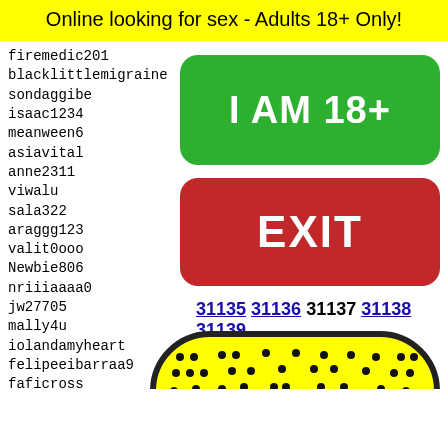Online looking for sex - Adults 18+ Only!
firemedic201
blacklittlemigraine
sondaggibe...
isaac1234...
meanween6...
asiavital...
anne2311
viwalu
sala322
araggg123...
valit0ooo...
Newbie806...
nriiiaaaa0...
jw27705
mally4u
iolandamyheart
felipeeibarraa9
faficross
maryloiaco
diegui
genial
hegild
leodio
lahots
joeycr
[Figure (other): Green button labeled I AM 18+]
[Figure (other): Red button labeled EXIT]
31135 31136 31137 31138 31139
[Figure (illustration): Yellow paddle/emoji face with black dots pattern and decorative element at bottom]